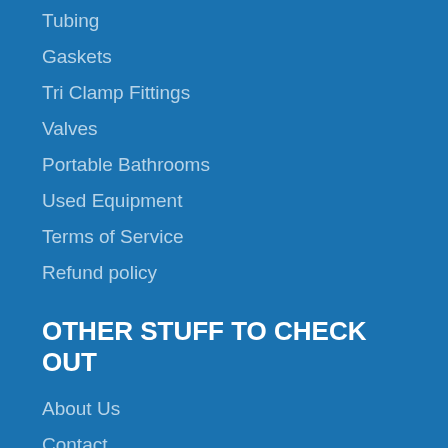Tubing
Gaskets
Tri Clamp Fittings
Valves
Portable Bathrooms
Used Equipment
Terms of Service
Refund policy
OTHER STUFF TO CHECK OUT
About Us
Contact
Privacy Policy